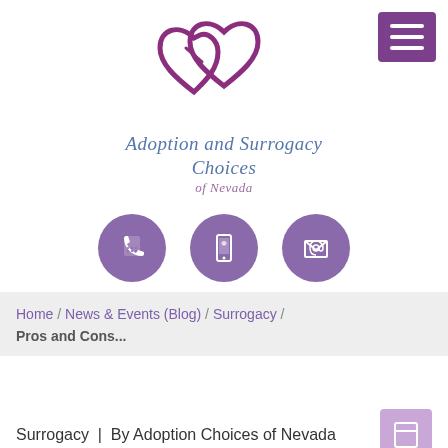[Figure (logo): Adoption and Surrogacy Choices of Nevada logo with two interlinked hearts in purple and cursive text]
[Figure (infographic): Three purple circular icons: telephone, mobile phone, and envelope/email]
Home / News & Events (Blog) / Surrogacy / Pros and Cons...
Surrogacy | By Adoption Choices of Nevada